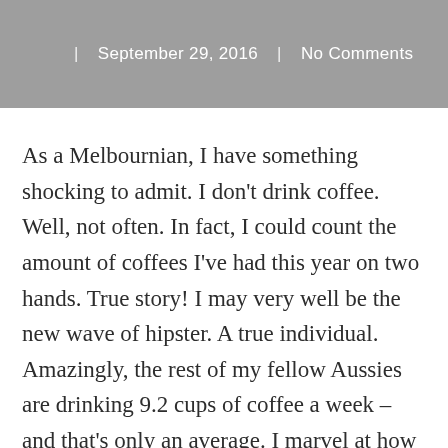| September 29, 2016 | No Comments
As a Melbournian, I have something shocking to admit. I don't drink coffee. Well, not often. In fact, I could count the amount of coffees I've had this year on two hands. True story! I may very well be the new wave of hipster. A true individual. Amazingly, the rest of my fellow Aussies are drinking 9.2 cups of coffee a week – and that's only an average. I marvel at how a simp coffee bean has shaped a huge facet of many people's